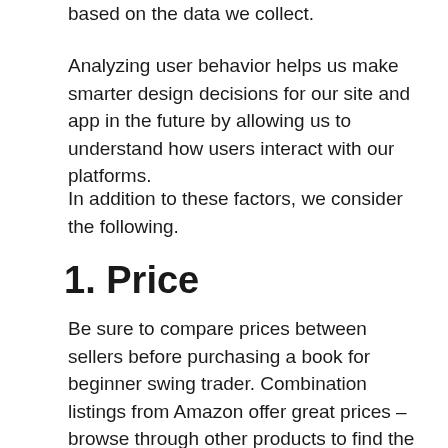based on the data we collect.
Analyzing user behavior helps us make smarter design decisions for our site and app in the future by allowing us to understand how users interact with our platforms.
In addition to these factors, we consider the following.
1. Price
Be sure to compare prices between sellers before purchasing a book for beginner swing trader. Combination listings from Amazon offer great prices – browse through other products to find the best fit.